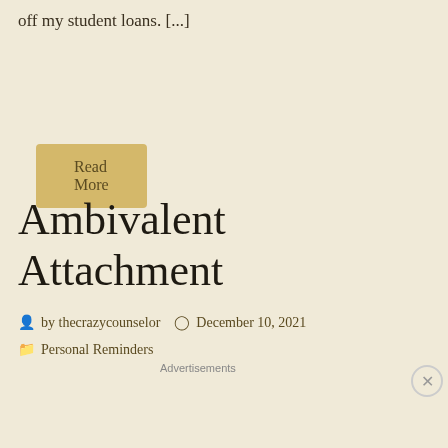off my student loans. [...]
Read More
Ambivalent Attachment
by thecrazycounselor  December 10, 2021
Personal Reminders
[Figure (other): DuckDuckGo advertisement banner: 'Search, browse, and email with more privacy. All in One Free App' with DuckDuckGo logo on dark background]
Advertisements